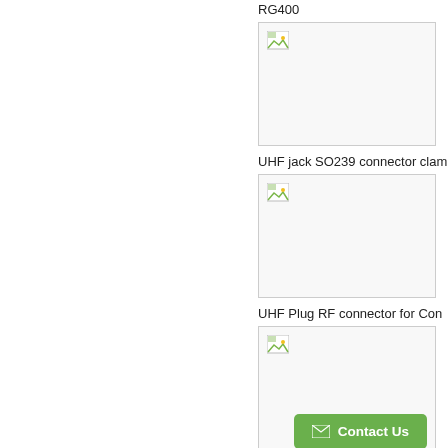RG400
[Figure (photo): Product image placeholder (broken image) for RG400 connector]
UHF jack SO239 connector clam
[Figure (photo): Product image placeholder (broken image) for UHF jack SO239 connector]
UHF Plug RF connector for Con
[Figure (photo): Product image placeholder (broken image) for UHF Plug RF connector]